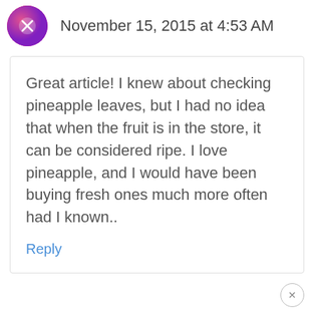November 15, 2015 at 4:53 AM
Great article! I knew about checking pineapple leaves, but I had no idea that when the fruit is in the store, it can be considered ripe. I love pineapple, and I would have been buying fresh ones much more often had I known..
Reply